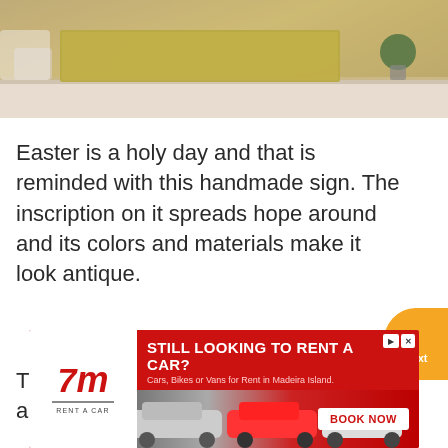[Figure (photo): Photo of a handmade antique-style Easter sign on a shelf with decorative items including a plant and jar]
Easter is a holy day and that is reminded with this handmade sign. The inscription on it spreads hope around and its colors and materials make it look antique.
This sign can be hung or leaned against a wall. Because of its handmade nature it
[Figure (other): Advertisement banner for 7m Rent a Car: STILL LOOKING TO RENT A CAR? Cars, Bikes or Vans for Rent in Madeira Island. BOOK NOW]